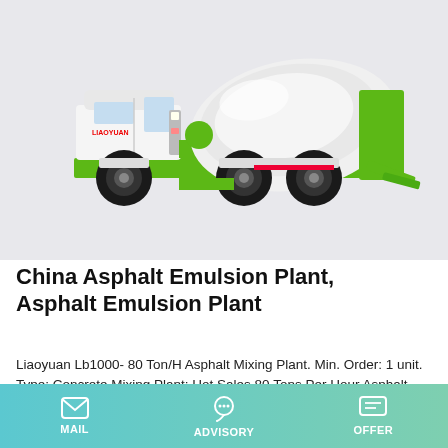[Figure (photo): A concrete mixer truck with white cab and green frame, featuring a large white rotating drum and green chute mechanism]
China Asphalt Emulsion Plant, Asphalt Emulsion Plant
Liaoyuan Lb1000- 80 Ton/H Asphalt Mixing Plant. Min. Order: 1 unit. Type: Concrete Mixing Plant; Hot Sales 80 Tons Per Hour Asphalt Mixing Plant Lb1000 with Oil Burner FOB Price: US $ 142000-192000 / Set Min. Order: 64 Ton Asphalt Mixing
MAIL   ADVISORY   OFFER